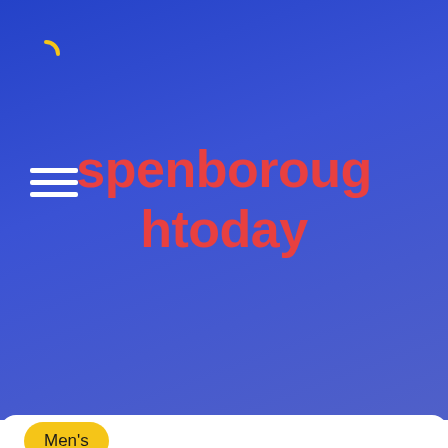spenboroughtoday
Men's
Harry Styles, Lewis Hamilton